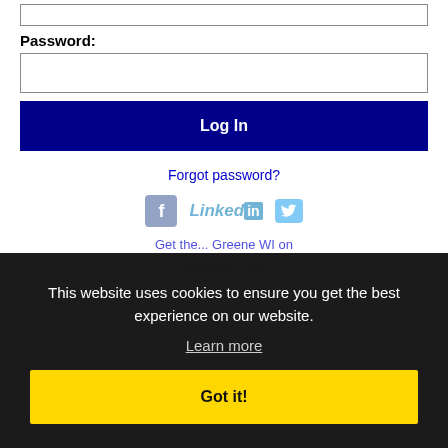Password:
[Figure (screenshot): Empty password input field]
Log In
Forgot password?
[Figure (screenshot): Social login icons: Facebook, LinkedIn, Twitter]
Get the ... Greene WI on
Milwaukee ... jobs ...
This website uses cookies to ensure you get the best experience on our website.
Learn more
Got it!